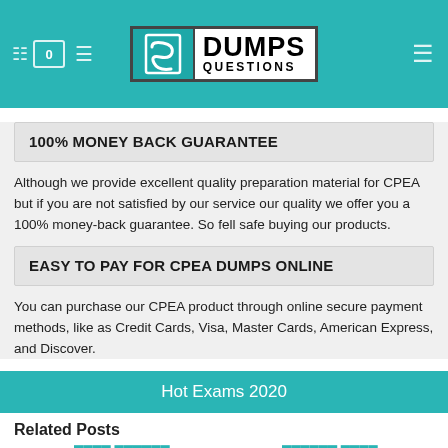Dumps Questions - logo header with navigation icons
100% MONEY BACK GUARANTEE
Although we provide excellent quality preparation material for CPEA but if you are not satisfied by our service our quality we offer you a 100% money-back guarantee. So fell safe buying our products.
EASY TO PAY FOR CPEA DUMPS ONLINE
You can purchase our CPEA product through online secure payment methods, like as Credit Cards, Visa, Master Cards, American Express, and Discover.
Hot Exams 2020
Related Posts
HPE0-J69 | NSE7_EFW-6.4